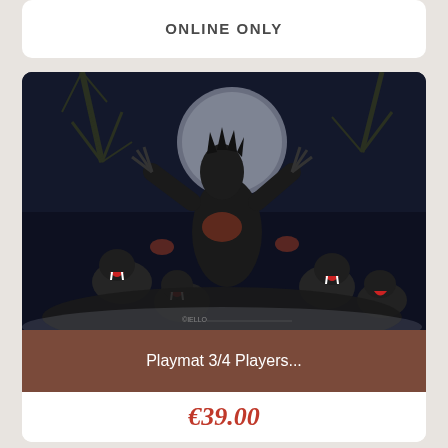ONLINE ONLY
[Figure (illustration): Fantasy artwork depicting werewolves or vampire knights in a battle scene under a full moon with dark trees in the background. Multiple monstrous creatures with fangs and claws are shown in a dynamic, action-packed composition.]
Playmat 3/4 Players...
€39.00
Playmat Requiem Vampire Knight